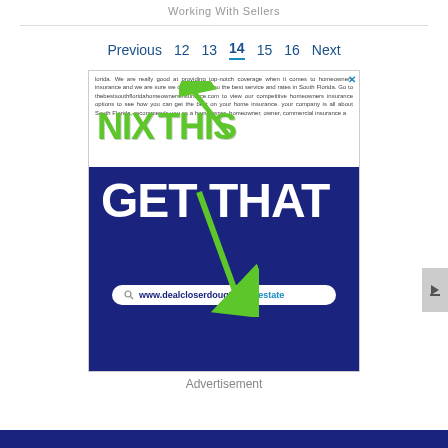Working With Sellers
Previous 12 13 14 15 16 Next
[Figure (advertisement): Advertisement banner for dealcloserdougFL.realestate showing 'NIX THIS GET THAT' with green arrows, on dark navy background, with a URL search bar showing www.dealcloserdougFL.realestate]
Advertisement